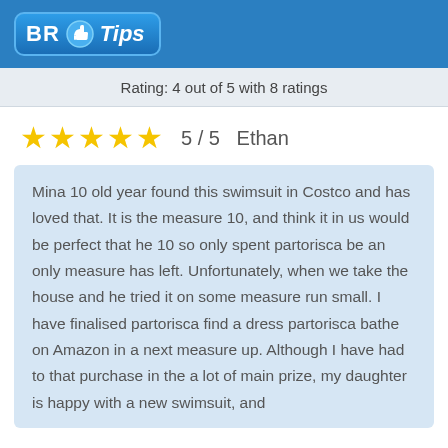[Figure (logo): BR Tips logo with thumbs up icon on blue background header]
Rating: 4 out of 5 with 8 ratings
★★★★★  5 / 5   Ethan
Mina 10 old year found this swimsuit in Costco and has loved that. It is the measure 10, and think it in us would be perfect that he 10 so only spent partorisca be an only measure has left. Unfortunately, when we take the house and he tried it on some measure run small. I have finalised partorisca find a dress partorisca bathe on Amazon in a next measure up. Although I have had to that purchase in the a lot of main prize, my daughter is happy with a new swimsuit, and...